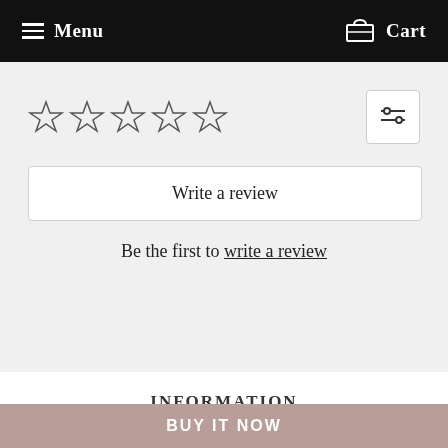Menu   Cart
[Figure (other): Five empty star rating icons in a row for product review rating]
Write a review
Be the first to write a review
INFORMATION
Order Status
Contact Us
About Us
Payments
BUY IT NOW